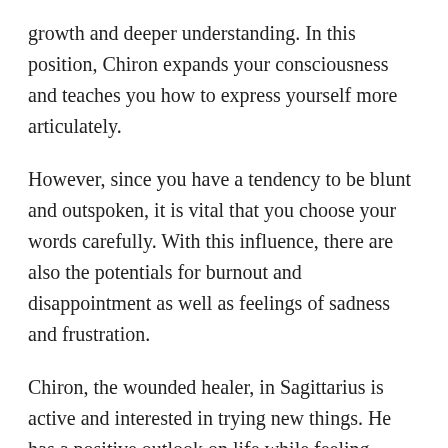growth and deeper understanding. In this position, Chiron expands your consciousness and teaches you how to express yourself more articulately.
However, since you have a tendency to be blunt and outspoken, it is vital that you choose your words carefully. With this influence, there are also the potentials for burnout and disappointment as well as feelings of sadness and frustration.
Chiron, the wounded healer, in Sagittarius is active and interested in trying new things. He has a positive outlook on life while feeling confident enough to be able to share his knowledge with others.